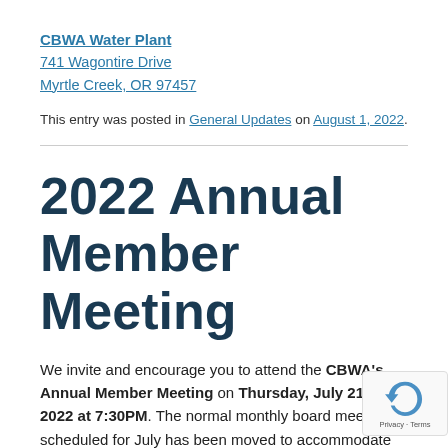CBWA Water Plant
741 Wagontire Drive
Myrtle Creek, OR 97457
This entry was posted in General Updates on August 1, 2022.
2022 Annual Member Meeting
We invite and encourage you to attend the CBWA's Annual Member Meeting on Thursday, July 21th 2022 at 7:30PM. The normal monthly board meeting scheduled for July has been moved to accommodate the